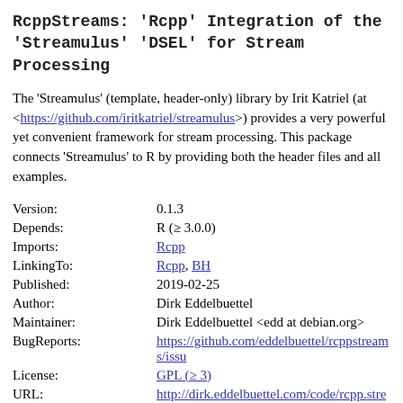RcppStreams: 'Rcpp' Integration of the 'Streamulus' 'DSEL' for Stream Processing
The 'Streamulus' (template, header-only) library by Irit Katriel (at <https://github.com/iritkatriel/streamulus>) provides a very powerful yet convenient framework for stream processing. This package connects 'Streamulus' to R by providing both the header files and all examples.
| Key | Value |
| --- | --- |
| Version: | 0.1.3 |
| Depends: | R (≥ 3.0.0) |
| Imports: | Rcpp |
| LinkingTo: | Rcpp, BH |
| Published: | 2019-02-25 |
| Author: | Dirk Eddelbuettel |
| Maintainer: | Dirk Eddelbuettel <edd at debian.org> |
| BugReports: | https://github.com/eddelbuettel/rcppstreams/issu |
| License: | GPL (≥ 3) |
| URL: | http://dirk.eddelbuettel.com/code/rcpp.streams.h |
| NeedsCompilation: | yes |
| Materials: | README NEWS ChangeLog |
| CRAN checks: | RcppStreams results |